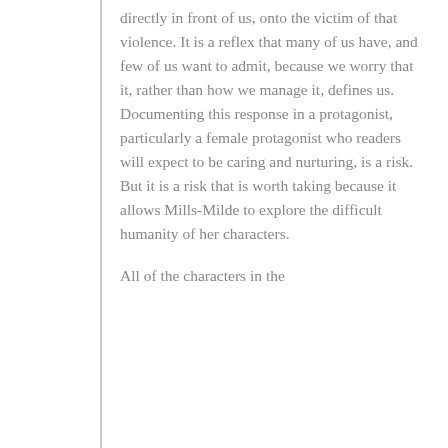directly in front of us, onto the victim of that violence. It is a reflex that many of us have, and few of us want to admit, because we worry that it, rather than how we manage it, defines us. Documenting this response in a protagonist, particularly a female protagonist who readers will expect to be caring and nurturing, is a risk. But it is a risk that is worth taking because it allows Mills-Milde to explore the difficult humanity of her characters.
All of the characters in the